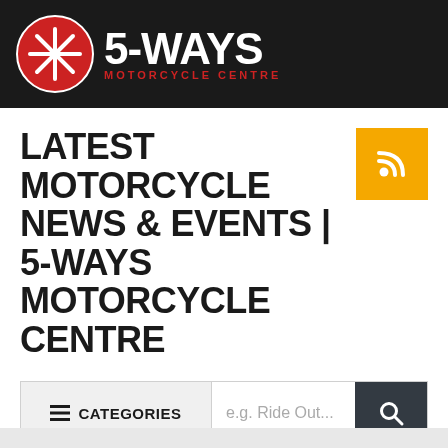5-WAYS MOTORCYCLE CENTRE
LATEST MOTORCYCLE NEWS & EVENTS | 5-WAYS MOTORCYCLE CENTRE
e.g. Ride Out...
Search returned no results